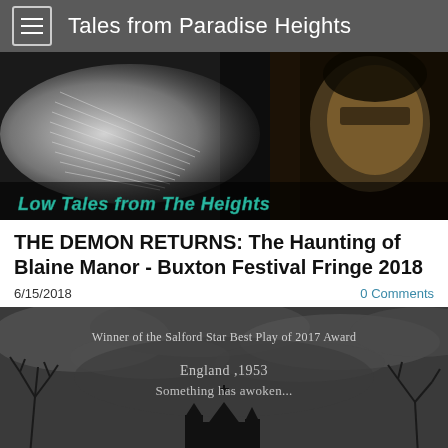Tales from Paradise Heights
[Figure (illustration): Dark banner image with angelic figure with white wings on left and a face on the right; text overlay reads 'Low Tales from The Heights' in teal/green stylized font]
THE DEMON RETURNS: The Haunting of Blaine Manor - Buxton Festival Fringe 2018
6/15/2018
0 Comments
[Figure (illustration): Dark atmospheric monochrome image with bare trees and gothic church silhouette; text reads 'Winner of the Salford Star Best Play of 2017 Award' and 'England ,1953 Something has awoken...']